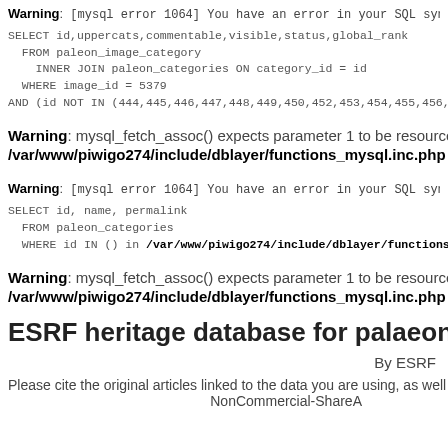Warning: [mysql error 1064] You have an error in your SQL syntax; chec
SELECT id,uppercats,commentable,visible,status,global_rank
  FROM paleon_image_category
    INNER JOIN paleon_categories ON category_id = id
  WHERE image_id = 5379
AND (id NOT IN (444,445,446,447,448,449,450,452,453,454,455,456,457,458
Warning: mysql_fetch_assoc() expects parameter 1 to be resource, boolean g
/var/www/piwigo274/include/dblayer/functions_mysql.inc.php on line 155
Warning: [mysql error 1064] You have an error in your SQL syntax; chec
SELECT id, name, permalink
  FROM paleon_categories
  WHERE id IN () in /var/www/piwigo274/include/dblayer/functions_mysql.
Warning: mysql_fetch_assoc() expects parameter 1 to be resource, boolean g
/var/www/piwigo274/include/dblayer/functions_mysql.inc.php on line 155
ESRF heritage database for palaeontology, evo
By ESRF
Please cite the original articles linked to the data you are using, as well as
NonCommercial-ShareA